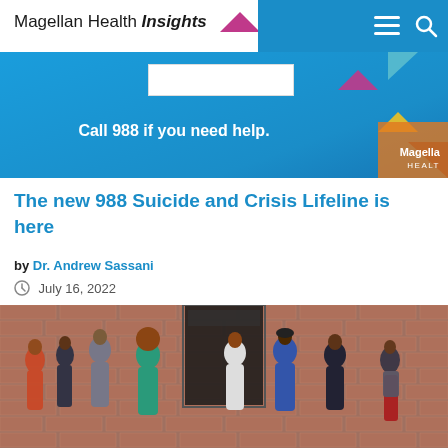Magellan Health Insights
[Figure (screenshot): Blue banner advertisement with text 'Call 988 if you need help.' and Magellan Health branding with colorful triangle shapes]
The new 988 Suicide and Crisis Lifeline is here
by Dr. Andrew Sassani
July 16, 2022
[Figure (photo): Group of diverse young adults standing and socializing in front of a brick wall with a dark doorway]